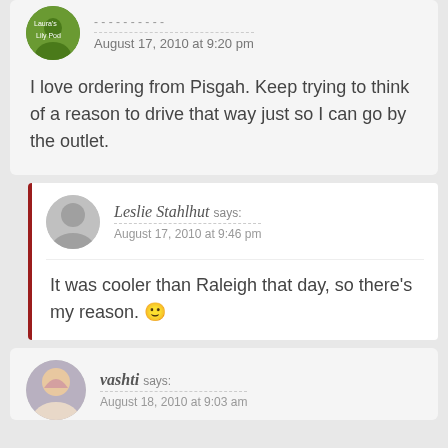August 17, 2010 at 9:20 pm
I love ordering from Pisgah. Keep trying to think of a reason to drive that way just so I can go by the outlet.
Leslie Stahlhut says: August 17, 2010 at 9:46 pm
It was cooler than Raleigh that day, so there’s my reason. 🙂
vashti says: August 18, 2010 at 9:03 am